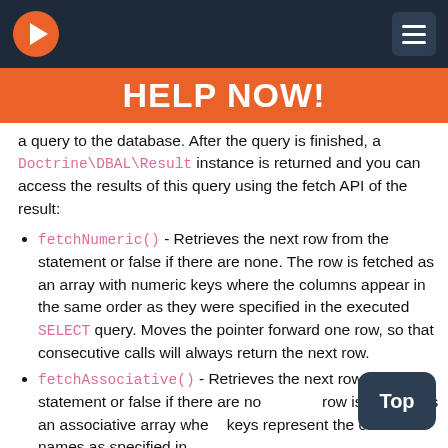HELP NOW!
a query to the database. After the query is finished, a Doctrine\DBAL\Result instance is returned and you can access the results of this query using the fetch API of the result:
fetchNumeric() - Retrieves the next row from the statement or false if there are none. The row is fetched as an array with numeric keys where the columns appear in the same order as they were specified in the executed SELECT query. Moves the pointer forward one row, so that consecutive calls will always return the next row.
fetchAssociative() - Retrieves the next row from the statement or false if there are none. The row is fetched as an associative array where the keys represent the column names as specified in